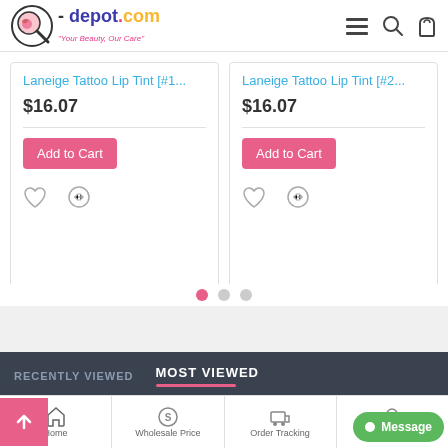q-depot.com - Your Beauty, Our Care
Laneige Tattoo Lip Tint [#1...
$16.07
Add to Cart
Laneige Tattoo Lip Tint [#2...
$16.07
Add to Cart
RECENTLY VIEWED
MOST VIEWED
NATURE REPUB...
$4.22
Laneige Lip Slee...
$12.93
Home | Wholesale Price | Order Tracking | FAQ | Message